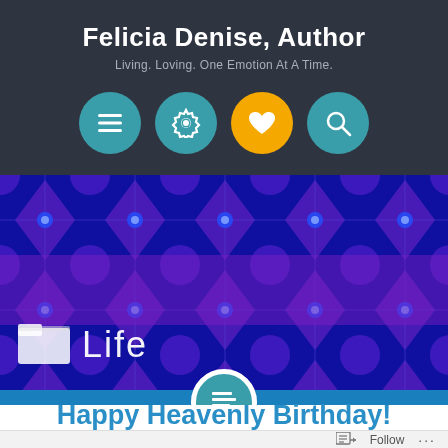Felicia Denise, Author
Living. Loving. One Emotion At A Time.
[Figure (illustration): Four circular icon buttons in a row: teal menu/hamburger icon, teal gear/settings icon, yellow heart/like icon, teal magnifying glass/search icon]
[Figure (illustration): Banner image with blue and purple abstract kaleidoscope pattern with geometric fan/flower shapes. A folder icon with the word 'Life' overlaid in white text. A teal circular icon with a list/document symbol floating at the bottom center of the banner.]
Happy Heavenly Birthday!
Follow  ...